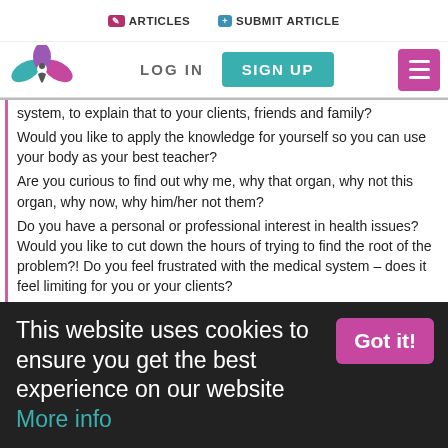ARTICLES  SUBMIT ARTICLE  LOG IN  SIGN UP
[Figure (logo): Wellness/meditation lotus flower logo with teal and pink leaves and a person silhouette]
system, to explain that to your clients, friends and family?
Would you like to apply the knowledge for yourself so you can use your body as your best teacher?
Are you curious to find out why me, why that organ, why not this organ, why now, why him/her not them?
Do you have a personal or professional interest in health issues? Would you like to cut down the hours of trying to find the root of the problem?! Do you feel frustrated with the medical system – does it feel limiting for you or your clients?
Do you or your clients suffer from recurrent health issues that are not getting better?
Do you want to discover a precise scientific medical
This website uses cookies to ensure you get the best experience on our website More info
Got it!